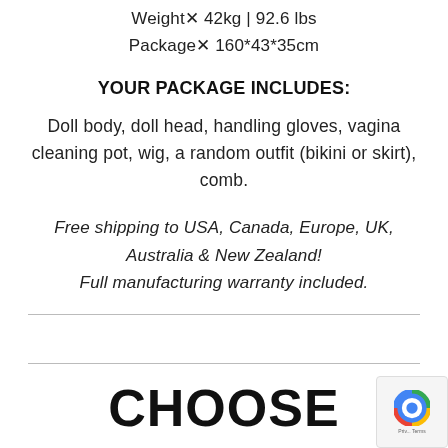Weight: 42kg | 92.6 lbs
Package: 160*43*35cm
YOUR PACKAGE INCLUDES:
Doll body, doll head, handling gloves, vagina cleaning pot, wig, a random outfit (bikini or skirt), comb.
Free shipping to USA, Canada, Europe, UK, Australia & New Zealand! Full manufacturing warranty included.
CHOOSE